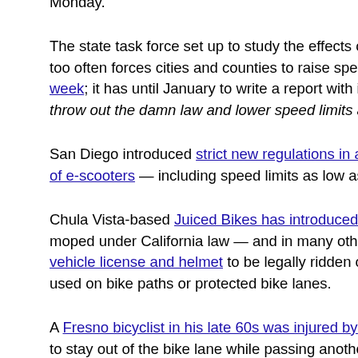Monday.
The state task force set up to study the effects of the deadly 85th P... too often forces cities and counties to raise speed limits held its first meeting last week; it has until January to write a report with its recommendations. Here's hoping they throw out the damn law and lower speed limits almost everywhere.
San Diego introduced strict new regulations in an attempt to tame the proliferation of e-scooters — including speed limits as low as 3 mph in select pe...
Chula Vista-based Juiced Bikes has introduced a 33 mph ebike, which classifies as a moped under California law — and in many other states — requiring a vehicle license and helmet to be legally ridden on the roads, and is not allowed to be used on bike paths or protected bike lanes.
A Fresno bicyclist in his late 60s was injured by a pickup driver who... to stay out of the bike lane while passing another car on the right. A... needless to say, couldn't be bothered to stay at the scene.
Sad news from Rohnert Park, where a 66-year old man was killed by a commuter train last week, just one day after a woman was killed ru... tracks at the same crossing. Despite a great job of victim blaming b... including accusing the victim of riding the wrong way on the sidewa...